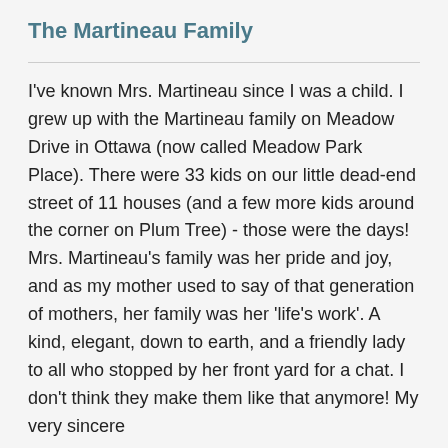The Martineau Family
I've known Mrs. Martineau since I was a child. I grew up with the Martineau family on Meadow Drive in Ottawa (now called Meadow Park Place). There were 33 kids on our little dead-end street of 11 houses (and a few more kids around the corner on Plum Tree) - those were the days! Mrs. Martineau's family was her pride and joy, and as my mother used to say of that generation of mothers, her family was her 'life's work'. A kind, elegant, down to earth, and a friendly lady to all who stopped by her front yard for a chat. I don't think they make them like that anymore! My very sincere